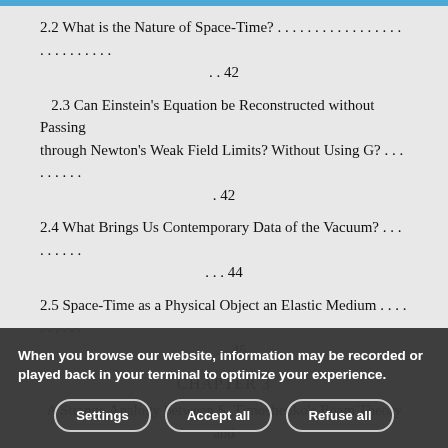2.2 What is the Nature of Space-Time? . . . . . . . . . . . . . . . . . . . . . . . . . . . . 42
2.3 Can Einstein's Equation be Reconstructed without Passing through Newton's Weak Field Limits? Without Using G? . . . . . . . . . . 42
2.4 What Brings Us Contemporary Data of the Vacuum? . . . . . . . . . . . . . 44
2.5 Space-Time as a Physical Object an Elastic Medium . . . . . . . . . . . . . . 45
CHAPTER 3
A Strange Analogy between S. Timoshenko's Beam Theory and General Relativity . . . . . . . . . . . . . . . . . . . . . . 47
3.1 Introduction . . . . . . . . . . . . . . . . . . . . . . . . . . . . . . . . . . . . . . . 47
3.2 Determines on General Relativity . . . . . . . . . . . . . . . . . . . . . . . 48
3.3 Analogy between Beam Theory and General Relativity from